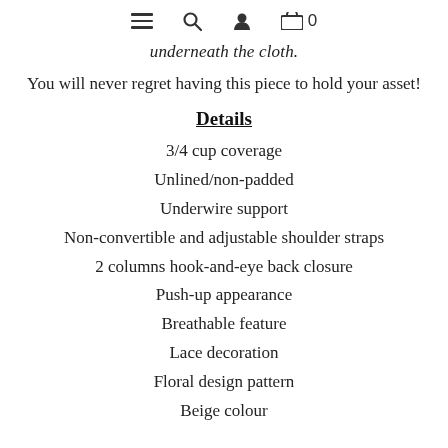[navigation icons: hamburger menu, search, account, cart 0]
underneath the cloth.
You will never regret having this piece to hold your asset!
Details
3/4 cup coverage
Unlined/non-padded
Underwire support
Non-convertible and adjustable shoulder straps
2 columns hook-and-eye back closure
Push-up appearance
Breathable feature
Lace decoration
Floral design pattern
Beige colour